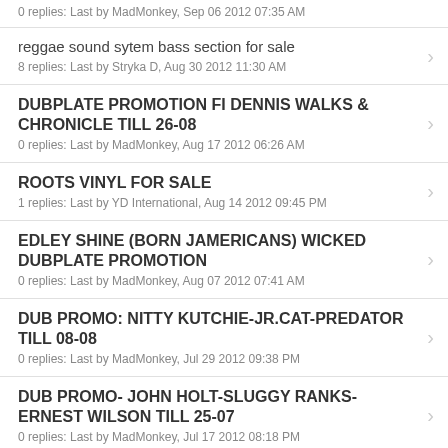0 replies: Last by MadMonkey, Sep 06 2012 07:35 AM
reggae sound sytem bass section for sale
8 replies: Last by Stryka D, Aug 30 2012 11:30 AM
DUBPLATE PROMOTION FI DENNIS WALKS & CHRONICLE TILL 26-08
0 replies: Last by MadMonkey, Aug 17 2012 06:26 AM
ROOTS VINYL FOR SALE
1 replies: Last by YD International, Aug 14 2012 09:45 PM
EDLEY SHINE (BORN JAMERICANS) WICKED DUBPLATE PROMOTION
0 replies: Last by MadMonkey, Aug 07 2012 07:41 AM
DUB PROMO: NITTY KUTCHIE-JR.CAT-PREDATOR TILL 08-08
0 replies: Last by MadMonkey, Jul 29 2012 09:38 PM
DUB PROMO- JOHN HOLT-SLUGGY RANKS-ERNEST WILSON TILL 25-07
0 replies: Last by MadMonkey, Jul 17 2012 08:18 PM
PRINCE ZIMBOO / SANI SHOWBIZZ DUBS